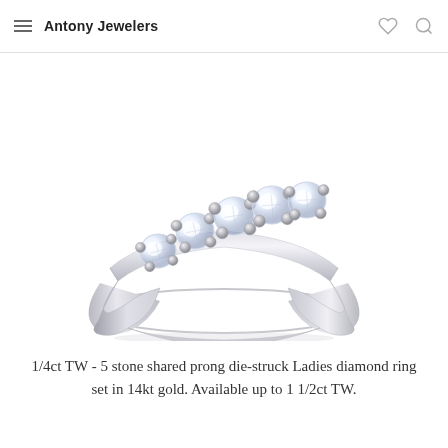Antony Jewelers
[Figure (photo): A white gold diamond wedding band ring with 5 round brilliant-cut diamonds set in shared prong setting, photographed at an angle on a white background.]
1/4ct TW - 5 stone shared prong die-struck Ladies diamond ring set in 14kt gold. Available up to 1 1/2ct TW.